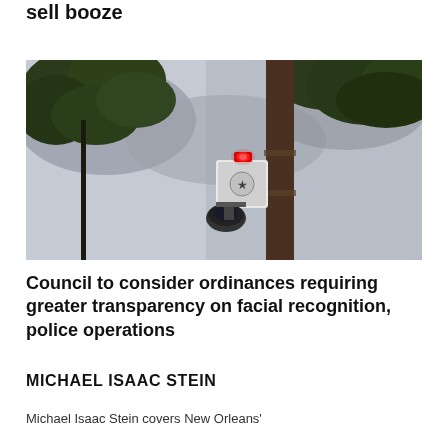sell booze
[Figure (photo): A surveillance camera and alert device with a red light mounted on a utility pole, with trees in the background against a grey sky.]
Council to consider ordinances requiring greater transparency on facial recognition, police operations
MICHAEL ISAAC STEIN
Michael Isaac Stein covers New Orleans'